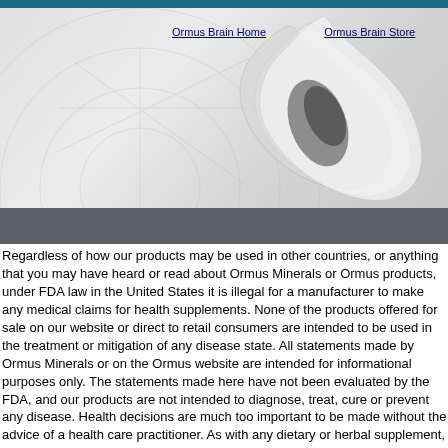[Figure (screenshot): Website header with navigation links 'Ormus Brain Home' and 'Ormus Brain Store', with a decorative swirl/abstract graphic background in grey tones, and a dark grey banner below.]
Ormus Brain Home    Ormus Brain Store
Regardless of how our products may be used in other countries, or anything that you may have heard or read about Ormus Minerals or Ormus products, under FDA law in the United States it is illegal for a manufacturer to make any medical claims for health supplements. None of the products offered for sale on our website or direct to retail consumers are intended to be used in the treatment or mitigation of any disease state. All statements made by Ormus Minerals or on the Ormus website are intended for informational purposes only. The statements made here have not been evaluated by the FDA, and our products are not intended to diagnose, treat, cure or prevent any disease. Health decisions are much too important to be made without the advice of a health care practitioner. As with any dietary or herbal supplement, you should advise your health care practitioner of the use of this